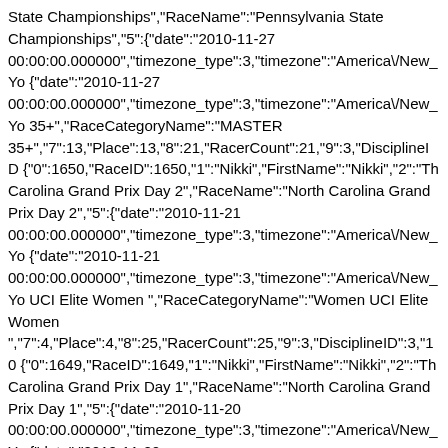State Championships","RaceName":"Pennsylvania State Championships","5":{"date":"2010-11-27 00:00:00.000000","timezone_type":3,"timezone":"America\/New_Yo {"date":"2010-11-27 00:00:00.000000","timezone_type":3,"timezone":"America\/New_Yo 35+","RaceCategoryName":"MASTER 35+","7":13,"Place":13,"8":21,"RacerCount":21,"9":3,"DisciplineID {"0":1650,"RaceID":1650,"1":"Nikki","FirstName":"Nikki","2":"Th Carolina Grand Prix Day 2","RaceName":"North Carolina Grand Prix Day 2","5":{"date":"2010-11-21 00:00:00.000000","timezone_type":3,"timezone":"America\/New_Yo {"date":"2010-11-21 00:00:00.000000","timezone_type":3,"timezone":"America\/New_Yo UCI Elite Women ","RaceCategoryName":"Women UCI Elite Women ","7":4,"Place":4,"8":25,"RacerCount":25,"9":3,"DisciplineID":3,"10 {"0":1649,"RaceID":1649,"1":"Nikki","FirstName":"Nikki","2":"Th Carolina Grand Prix Day 1","RaceName":"North Carolina Grand Prix Day 1","5":{"date":"2010-11-20 00:00:00.000000","timezone_type":3,"timezone":"America\/New_Yo {"date":"2010-11-20 00:00:00.000000","timezone_type":3,"timezone":"America\/New_Yo UCI Elite Women ","RaceCategoryName":"Women UCI Elite Women ","7":2,"Place":2,"8":23,"RacerCount":23,"9":3,"DisciplineID":3,"10